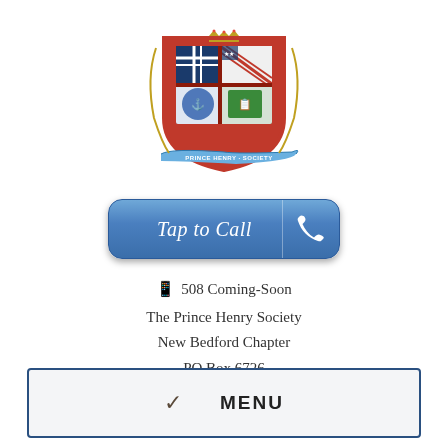[Figure (logo): Prince Henry Society coat of arms / heraldic crest with red and white shield, blue cross, American flag diagonal, Portuguese elements, crown at top, and banner reading 'PRINCE HENRY SOCIETY' at bottom]
[Figure (other): Blue rounded-rectangle button reading 'Tap to Call' with phone handset icon on the right side]
📱  508 Coming-Soon
The Prince Henry Society
New Bedford Chapter
PO Box 6726
New Bedford, MA 02742
MENU